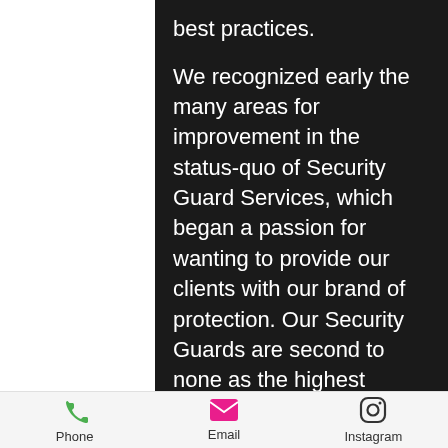best practices.
We recognized early the many areas for improvement in the status-quo of Security Guard Services, which began a passion for wanting to provide our clients with our brand of protection. Our Security Guards are second to none as the highest trained Guards in Southwestern Ontario – the respect earned for our staff training has been more than apparent as both in-house Security Programs and contract Security Agency's routinely become our clients, having us deliver training to their own staff
Phone   Email   Instagram